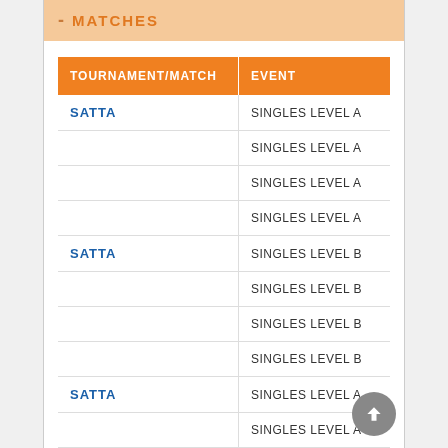- MATCHES
| TOURNAMENT/MATCH | EVENT |
| --- | --- |
| SATTA | SINGLES LEVEL A |
|  | SINGLES LEVEL A |
|  | SINGLES LEVEL A |
|  | SINGLES LEVEL A |
| SATTA | SINGLES LEVEL B |
|  | SINGLES LEVEL B |
|  | SINGLES LEVEL B |
|  | SINGLES LEVEL B |
| SATTA | SINGLES LEVEL A |
|  | SINGLES LEVEL A |